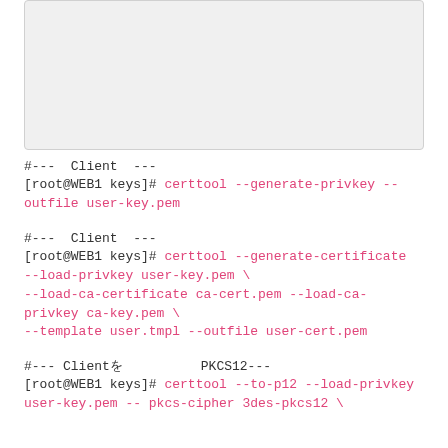[Figure (other): Gray placeholder box at top of page]
#---  Client  ---
[root@WEB1 keys]# certtool --generate-privkey --outfile user-key.pem
#---  Client  ---
[root@WEB1 keys]# certtool --generate-certificate --load-privkey user-key.pem \
--load-ca-certificate ca-cert.pem --load-ca-privkey ca-key.pem \
--template user.tmpl --outfile user-cert.pem
#--- ClientをPKCS12---
[root@WEB1 keys]# certtool --to-p12 --load-privkey user-key.pem --pkcs-cipher 3des-pkcs12 \